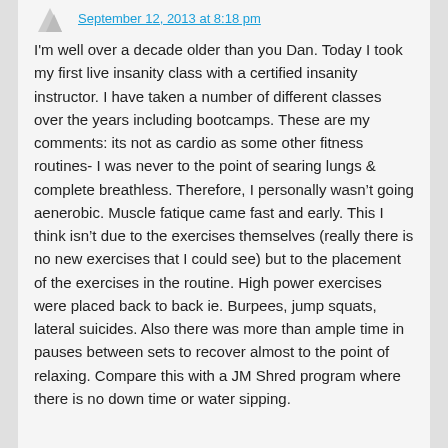September 12, 2013 at 8:18 pm
I'm well over a decade older than you Dan. Today I took my first live insanity class with a certified insanity instructor. I have taken a number of different classes over the years including bootcamps. These are my comments: its not as cardio as some other fitness routines- I was never to the point of searing lungs & complete breathless. Therefore, I personally wasn't going aenerobic. Muscle fatique came fast and early. This I think isn't due to the exercises themselves (really there is no new exercises that I could see) but to the placement of the exercises in the routine. High power exercises were placed back to back ie. Burpees, jump squats, lateral suicides. Also there was more than ample time in pauses between sets to recover almost to the point of relaxing. Compare this with a JM Shred program where there is no down time or water sipping.